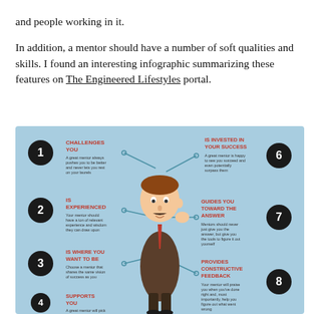and people working in it.
In addition, a mentor should have a number of soft qualities and skills. I found an interesting infographic summarizing these features on The Engineered Lifestyles portal.
[Figure (infographic): Infographic showing 8 qualities of a great mentor on a light blue background with a cartoon figure in the center. Qualities listed: 1. CHALLENGES YOU, 2. IS EXPERIENCED, 3. IS WHERE YOU WANT TO BE, 4. SUPPORTS YOU, 5. (implied), 6. IS INVESTED IN YOUR SUCCESS, 7. GUIDES YOU TOWARD THE ANSWER, 8. PROVIDES CONSTRUCTIVE FEEDBACK]